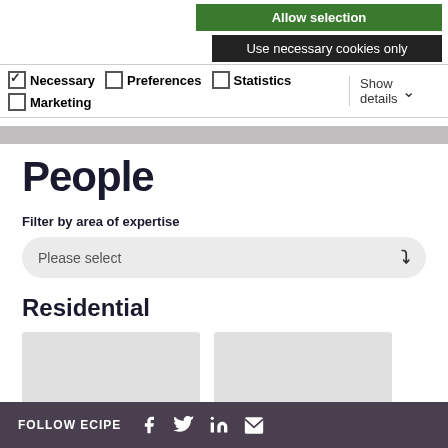Allow selection
Use necessary cookies only
Necessary  Preferences  Statistics  Marketing  Show details
People
Filter by area of expertise
Please select
Residential
FOLLOW ECIPE